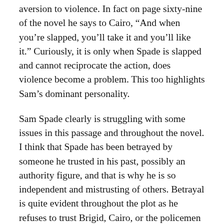aversion to violence. In fact on page sixty-nine of the novel he says to Cairo, “And when you’re slapped, you’ll take it and you’ll like it.” Curiously, it is only when Spade is slapped and cannot reciprocate the action, does violence become a problem. This too highlights Sam’s dominant personality.
Sam Spade clearly is struggling with some issues in this passage and throughout the novel. I think that Spade has been betrayed by someone he trusted in his past, possibly an authority figure, and that is why he is so independent and mistrusting of others. Betrayal is quite evident throughout the plot as he refuses to trust Brigid, Cairo, or the policemen who he seems to be friendly with, and also continuously betrays Effie Perine, Iva Archer, and Brigid O’Shaughnessy, each of whom believe to have some kind of romantic relationship with Sam Spade.